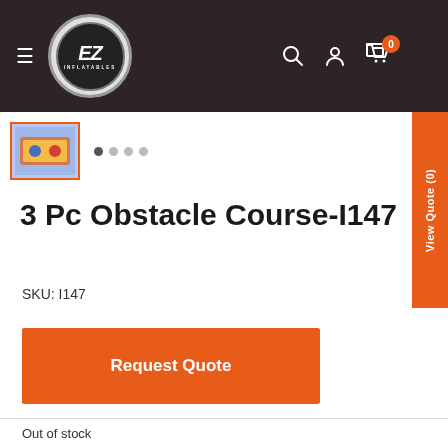EZ Inflatables navigation header with logo, search, user, and cart icons
[Figure (screenshot): Product thumbnail image of 3 Pc Obstacle Course with orange border, and dot navigation indicators]
3 Pc Obstacle Course-I147
SKU: I147
Request Quote
Out of stock
Dimensions: